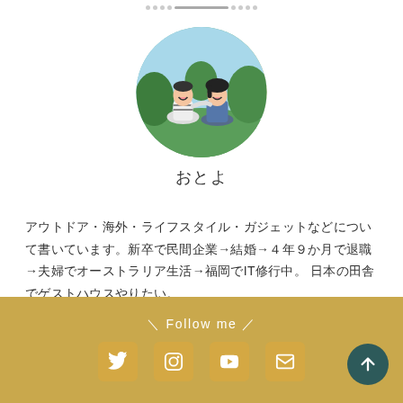[Figure (photo): Circular profile photo of a couple sitting on green grass outdoors, smiling and laughing, with trees in background]
おとよ
アウトドア・海外・ライフスタイル・ガジェットなどについて書いています。新卒で民間企業→結婚→４年９か月で退職→夫婦でオーストラリア生活→福岡でIT修行中。 日本の田舎でゲストハウスやりたい。
\ Follow me / Twitter Instagram YouTube Mail